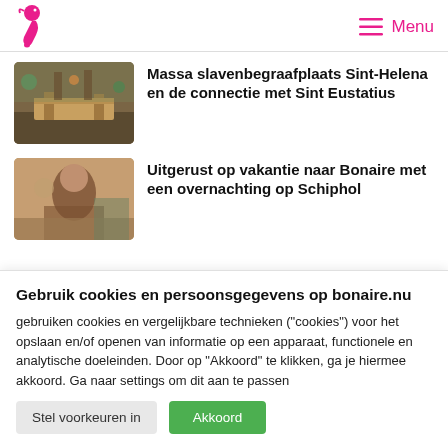Menu
[Figure (photo): Aerial or ground-level view of an archaeological excavation site with people working and wooden structures.]
Massa slavenbegraafplaats Sint-Helena en de connectie met Sint Eustatius
[Figure (photo): People gathered indoors, warm lighting, social or community setting.]
Uitgerust op vakantie naar Bonaire met een overnachting op Schiphol
Gebruik cookies en persoonsgegevens op bonaire.nu
gebruiken cookies en vergelijkbare technieken ("cookies") voor het opslaan en/of openen van informatie op een apparaat, functionele en analytische doeleinden. Door op "Akkoord" te klikken, ga je hiermee akkoord. Ga naar settings om dit aan te passen
Stel voorkeuren in
Akkoord